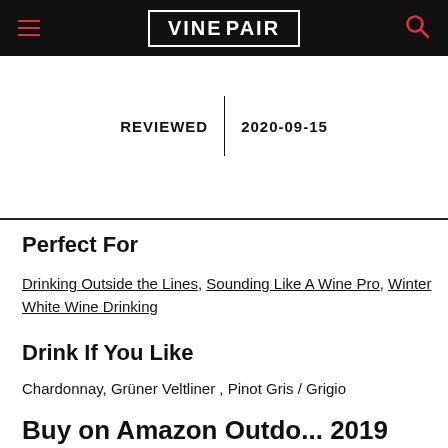VINEPAIR
REVIEWED | 2020-09-15
Perfect For
Drinking Outside the Lines, Sounding Like A Wine Pro, Winter White Wine Drinking
Drink If You Like
Chardonnay, Grüner Veltliner , Pinot Gris / Grigio
Buy on Amazon Outdo... 2019